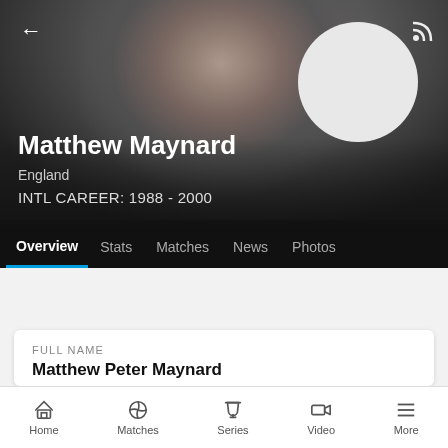[Figure (photo): Hero header with blurred photo of Matthew Maynard (bald man with sunglasses) and a circular avatar placeholder on the right]
Matthew Maynard
England
INTL CAREER: 1988 - 2000
Overview | Stats | Matches | News | Photos
| FULL NAME |  |
| --- | --- |
| Matthew Peter Maynard |  |
| BORN | AGE |
| March 21, 1966, Oldham, | 56y 151d |
Home | Matches | Series | Video | More